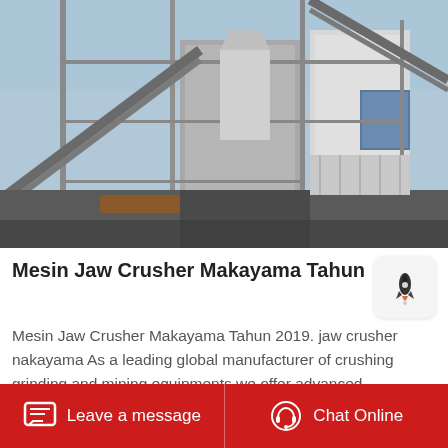[Figure (photo): Industrial jaw crusher machinery with steel framework, conveyor belts, and large mechanical components against a blue sky.]
Mesin Jaw Crusher Makayama Tahun 2019
Mesin Jaw Crusher Makayama Tahun 2019. jaw crusher nakayama As a leading global manufacturer of crushing grinding and mining equipments we offer advanced reasonable solutions for any sizereduction requirements including quarry aggregate and different kinds of
Leave a message   Chat Online